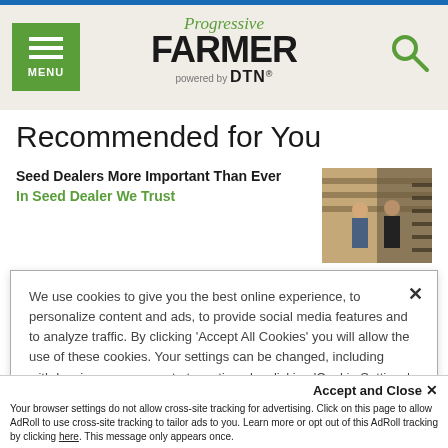Progressive FARMER powered by DTN
Recommended for You
Seed Dealers More Important Than Ever
In Seed Dealer We Trust
[Figure (photo): Two men standing in a seed dealer warehouse with shelving in background]
We use cookies to give you the best online experience, to personalize content and ads, to provide social media features and to analyze traffic. By clicking 'Accept All Cookies' you will allow the use of these cookies. Your settings can be changed, including withdrawing your consent at any time, by clicking 'Cookie Settings'. Find out more on how we and third parties use cookies in our Cookie Policy
Accept and Close ×
Your browser settings do not allow cross-site tracking for advertising. Click on this page to allow AdRoll to use cross-site tracking to tailor ads to you. Learn more or opt out of this AdRoll tracking by clicking here. This message only appears once.